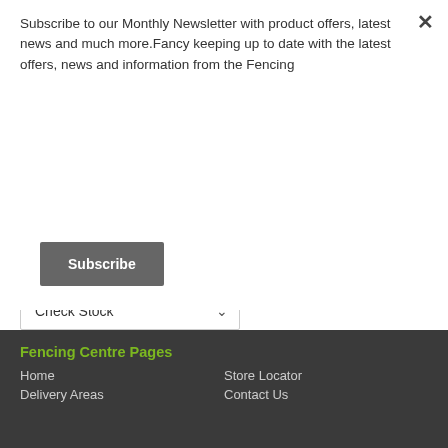Subscribe to our Monthly Newsletter with product offers, latest news and much more.Fancy keeping up to date with the latest offers, news and information from the Fencing
×
Subscribe
Delivery Only
FREE Click & Collect
Home Delivery
Check Stock
Fencing Centre Pages
Home
Store Locator
Delivery Areas
Contact Us